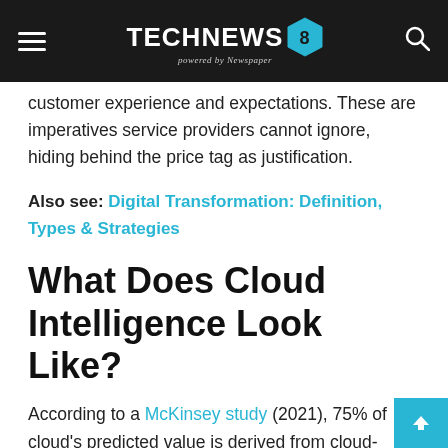TECHNEWS 8 powered by Newspaper
customer experience and expectations. These are imperatives service providers cannot ignore, hiding behind the price tag as justification.
Also see: Digital Transformation: Definition, Types & Strategies
What Does Cloud Intelligence Look Like?
According to a McKinsey study (2021), 75% of cloud's predicted value is derived from cloud-afforded innovation.
As McKinsey puts it, “The emergence of this immense value